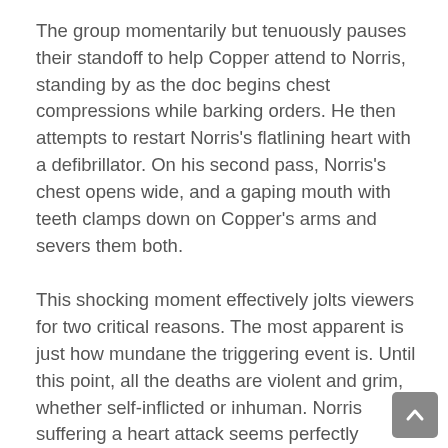The group momentarily but tenuously pauses their standoff to help Copper attend to Norris, standing by as the doc begins chest compressions while barking orders. He then attempts to restart Norris's flatlining heart with a defibrillator. On his second pass, Norris's chest opens wide, and a gaping mouth with teeth clamps down on Copper's arms and severs them both.
This shocking moment effectively jolts viewers for two critical reasons. The most apparent is just how mundane the triggering event is. Until this point, all the deaths are violent and grim, whether self-inflicted or inhuman. Norris suffering a heart attack seems perfectly normal and understandable by comparison.
The second key component of this scene is how Carpenter stages it. He toggles between the immediate emergency with Norris and the unresolved conflict with MacReady. As a shivering MacReady keeps his flamethrower at the ready, the camera zooms in on Garry sneaking a weapon from Copper's